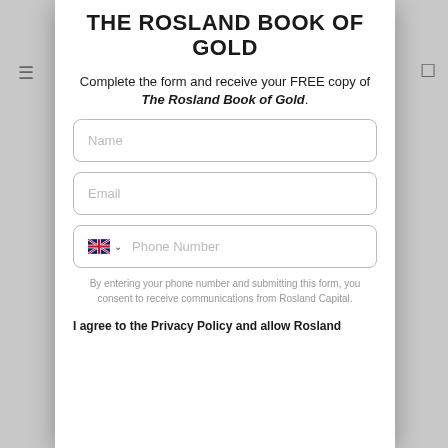THE ROSLAND BOOK OF GOLD
Complete the form and receive your FREE copy of The Rosland Book of Gold.
Name
Email
Phone Number
By entering your phone number and submitting this form, you consent to receive communications from Rosland Capital.
I agree to the Privacy Policy and allow Rosland